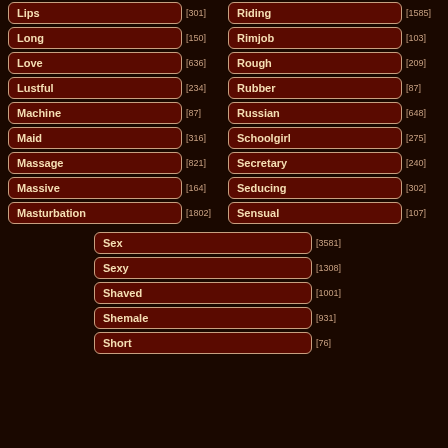Lips [301]
Long [150]
Love [636]
Lustful [234]
Machine [87]
Maid [316]
Massage [821]
Massive [164]
Masturbation [1802]
Riding [1585]
Rimjob [103]
Rough [209]
Rubber [87]
Russian [648]
Schoolgirl [275]
Secretary [240]
Seducing [302]
Sensual [107]
Sex [3581]
Sexy [1308]
Shaved [1001]
Shemale [931]
Short [76]